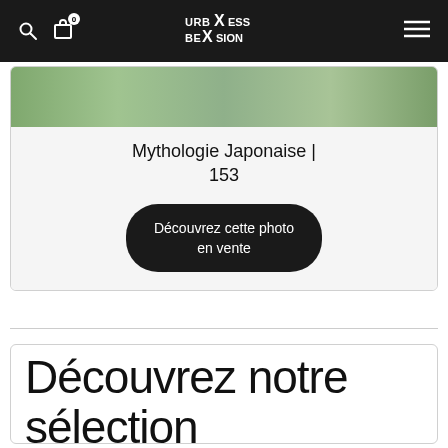UrbXSession logo navigation header with search, cart (0), and menu icons
[Figure (photo): Partial image of a nature/forest scene at the top of a product card]
Mythologie Japonaise | 153
Découvrez cette photo en vente
Découvrez notre sélection